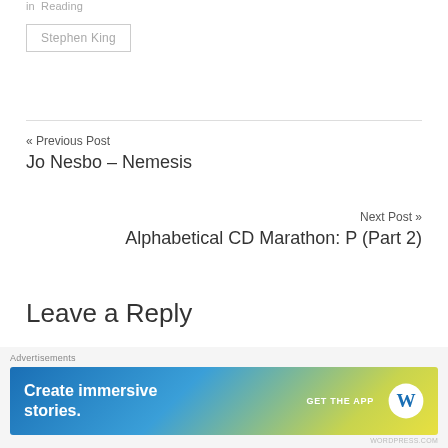in  Reading
Stephen King
« Previous Post
Jo Nesbo – Nemesis
Next Post »
Alphabetical CD Marathon: P (Part 2)
Leave a Reply
[Figure (infographic): WordPress advertisement banner: 'Create immersive stories. GET THE APP' with WordPress logo, gradient blue-green-yellow background.]